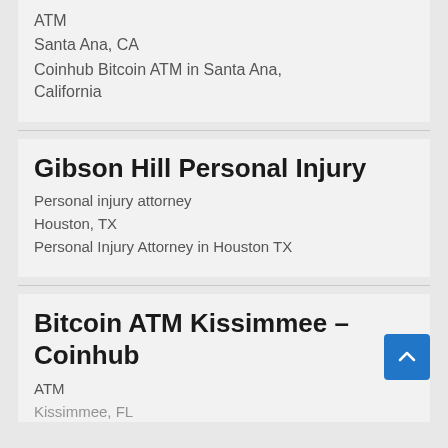ATM
Santa Ana, CA
Coinhub Bitcoin ATM in Santa Ana, California
Gibson Hill Personal Injury
Personal injury attorney
Houston, TX
Personal Injury Attorney in Houston TX
Bitcoin ATM Kissimmee – Coinhub
ATM
Kissimmee, FL